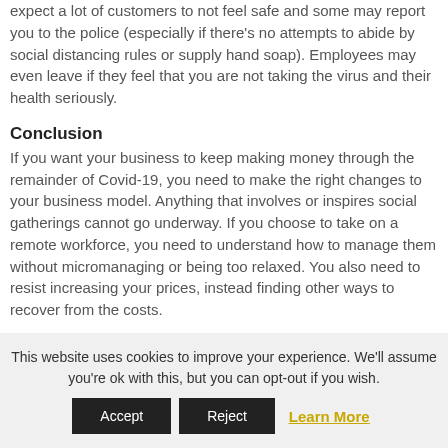expect a lot of customers to not feel safe and some may report you to the police (especially if there's no attempts to abide by social distancing rules or supply hand soap). Employees may even leave if they feel that you are not taking the virus and their health seriously.
Conclusion
If you want your business to keep making money through the remainder of Covid-19, you need to make the right changes to your business model. Anything that involves or inspires social gatherings cannot go underway. If you choose to take on a remote workforce, you need to understand how to manage them without micromanaging or being too relaxed. You also need to resist increasing your prices, instead finding other ways to recover from the costs.
This website uses cookies to improve your experience. We'll assume you're ok with this, but you can opt-out if you wish.
Accept  Reject  Learn More